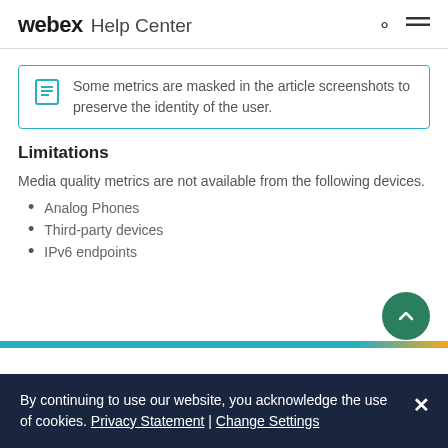webex Help Center
Some metrics are masked in the article screenshots to preserve the identity of the user.
Limitations
Media quality metrics are not available from the following devices.
Analog Phones
Third-party devices
IPv6 endpoints
By continuing to use our website, you acknowledge the use of cookies. Privacy Statement | Change Settings